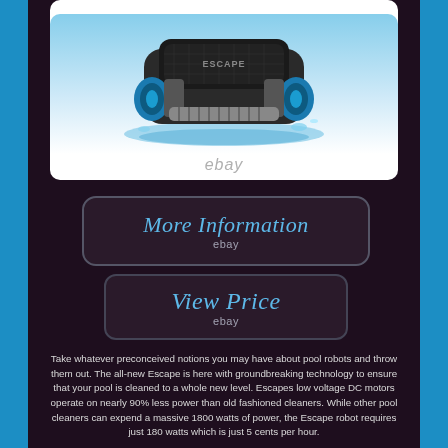[Figure (photo): Robotic pool cleaner (Escape) on water surface, blue and gray colored robot with wheels and brushes, eBay watermark below]
More Information
ebay
View Price
ebay
Take whatever preconceived notions you may have about pool robots and throw them out. The all-new Escape is here with groundbreaking technology to ensure that your pool is cleaned to a whole new level. Escapes low voltage DC motors operate on nearly 90% less power than old fashioned cleaners. While other pool cleaners can expend a massive 1800 watts of power, the Escape robot requires just 180 watts which is just 5 cents per hour.